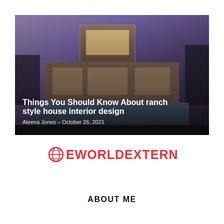[Figure (photo): Hero image of a modern ranch-style house at dusk with purple/blue sky, illuminated windows, and a swimming pool in the foreground. Bold white title and author/date overlay at bottom of image.]
Things You Should Know About ranch style house interior design
Aleena Jones - October 26, 2021
[Figure (logo): EWORLDEXTERNAL logo in red/coral color with a circular globe icon to the left of the text]
ABOUT ME